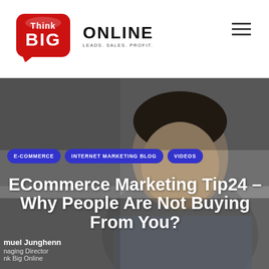[Figure (logo): Think Big Online logo with red speech bubble icon containing 'Think BIG' text, followed by 'ONLINE' in bold and tagline 'LEADS. SALES. PROFIT.']
[Figure (photo): Background hero image showing a man in a plaid shirt looking upward, with a gray/dark background. Overlaid with category tags and article title.]
E-COMMERCE
INTERNET MARKETING BLOG
VIDEOS
ECommerce Marketing Tip24 – Why People Are Not Buying From You?
Samuel Junghenn
Managing Director
Think Big Online